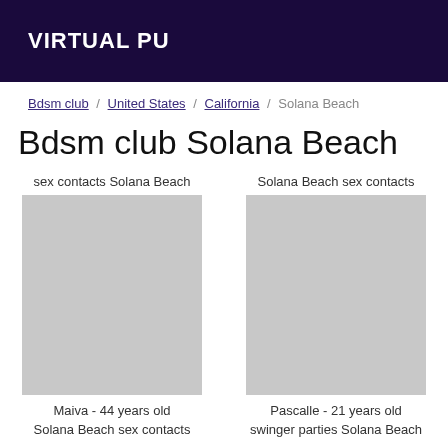VIRTUAL PU
Bdsm club / United States / California / Solana Beach
Bdsm club Solana Beach
sex contacts Solana Beach
[Figure (photo): Profile photo placeholder for Maiva]
Maiva - 44 years old
Solana Beach sex contacts
Solana Beach sex contacts
[Figure (photo): Profile photo placeholder for Pascalle]
Pascalle - 21 years old
swinger parties Solana Beach